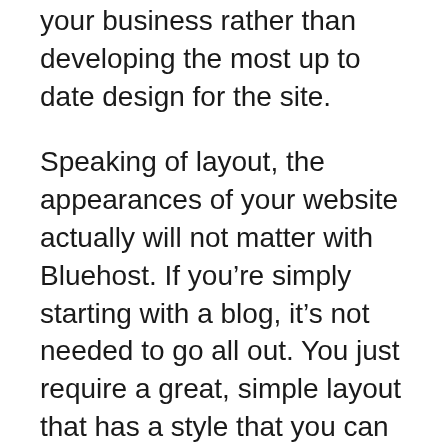your business rather than developing the most up to date design for the site.
Speaking of layout, the appearances of your website actually will not matter with Bluehost. If you're simply starting with a blog, it's not needed to go all out. You just require a great, simple layout that has a style that you can easily collaborate with.
Terrific assistance is also another advantage to using them. The assistance team is normally very receptive to your concerns as well as problems. You will not need to question what's taking place when you can merely most likely to their customer service department and inquire what you require to know.